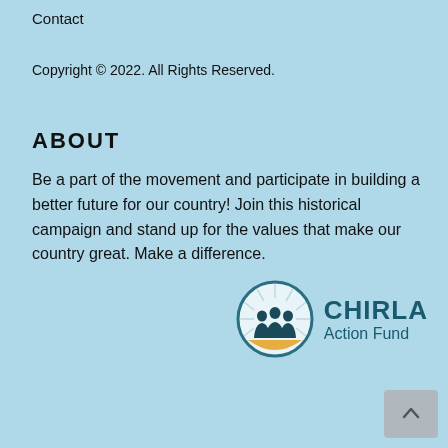Contact
Copyright © 2022. All Rights Reserved.
ABOUT
Be a part of the movement and participate in building a better future for our country! Join this historical campaign and stand up for the values that make our country great. Make a difference.
[Figure (logo): CHIRLA Action Fund logo: circular emblem with silhouettes of people and a sunburst, next to bold teal text reading CHIRLA Action Fund]